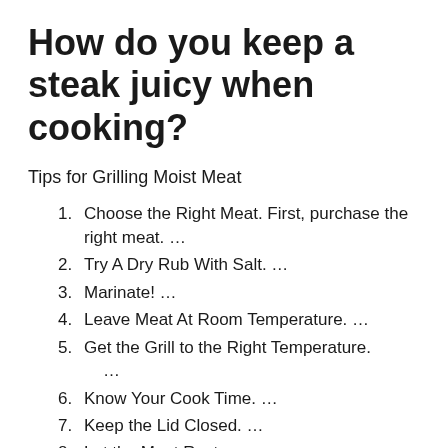How do you keep a steak juicy when cooking?
Tips for Grilling Moist Meat
Choose the Right Meat. First, purchase the right meat. …
Try A Dry Rub With Salt. …
Marinate! …
Leave Meat At Room Temperature. …
Get the Grill to the Right Temperature. …
Know Your Cook Time. …
Keep the Lid Closed. …
Let the Meat Rest.
How do restaurants make